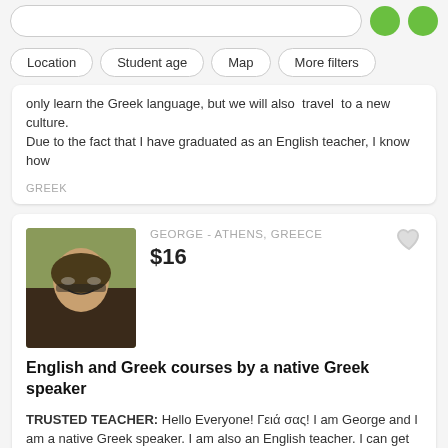[Figure (screenshot): Partial search bar with green button and another green circle icon on right]
Location | Student age | Map | More filters
only learn the Greek language, but we will also  travel  to a new culture. Due to the fact that I have graduated as an English teacher, I know how
GREEK
[Figure (photo): Photo of George, young man with glasses and brown hair, smiling]
GEORGE - ATHENS, GREECE
$16
English and Greek courses by a native Greek speaker
TRUSTED TEACHER: Hello Everyone! Γειά σας! I am George and I am a native Greek speaker. I am also an English teacher. I can get you prepared for any goal you have set! Exams, job opportunities, relocation and so on. Moreover, I teach Greek to foreigners as well, so they can
GREEK · ANCIENT GREEK · ENGLISH
[Figure (photo): Photo of Sofia, young woman with sunglasses and long hair, smiling, wearing yellow top]
SOFIA - GENEVA, SWITZERLAND
$36
[Figure (other): 4 green star rating icons]